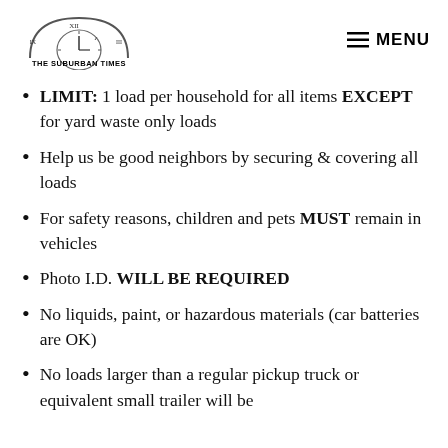THE SUBURBAN TIMES — MENU
LIMIT: 1 load per household for all items EXCEPT for yard waste only loads
Help us be good neighbors by securing & covering all loads
For safety reasons, children and pets MUST remain in vehicles
Photo I.D. WILL BE REQUIRED
No liquids, paint, or hazardous materials (car batteries are OK)
No loads larger than a regular pickup truck or equivalent small trailer will be